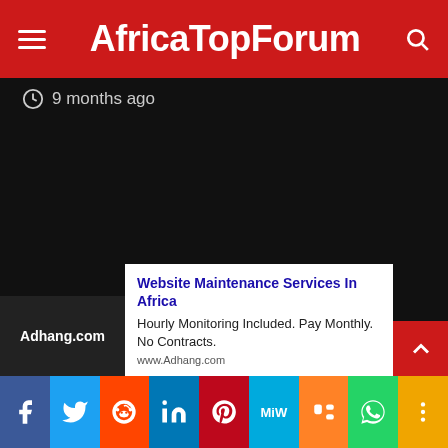AfricaTopForum
9 months ago
[Figure (screenshot): Dark/black content area, likely a video or image that failed to load]
Website Maintenance Services In Africa
Hourly Monitoring Included. Pay Monthly. No Contracts.
www.Adhang.com
Social share bar: Facebook, Twitter, Reddit, LinkedIn, Pinterest, MeWe, Mix, WhatsApp, More